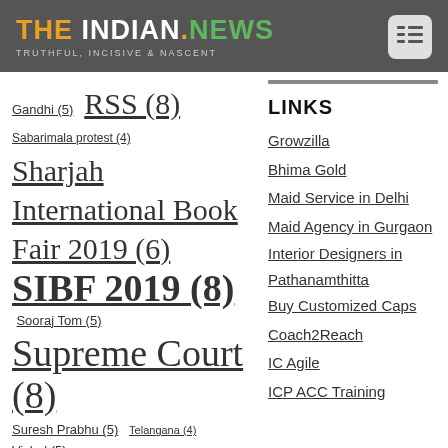THE INDIAN.NEWS – TRUTHFUL, INCISIVE & NASCENT
Gandhi (5)
RSS (8)
Sabarimala protest (4)
Sharjah International Book Fair 2019 (6)
SIBF 2019 (8)
Sooraj Tom (5)
Supreme Court (8)
Suresh Prabhu (5)
Telangana (4)
Vishal (5)
LINKS
Growzilla
Bhima Gold
Maid Service in Delhi
Maid Agency in Gurgaon
Interior Designers in Pathanamthitta
Buy Customized Caps
Coach2Reach
IC Agile
ICP ACC Training